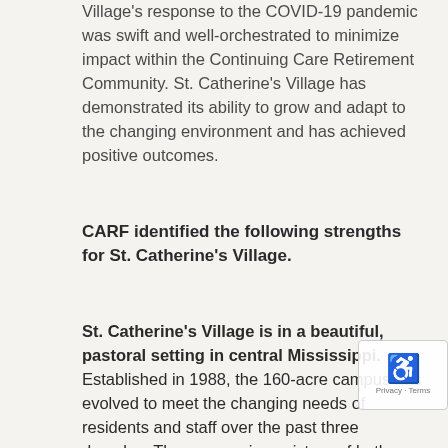Village's response to the COVID-19 pandemic was swift and well-orchestrated to minimize impact within the Continuing Care Retirement Community. St. Catherine's Village has demonstrated its ability to grow and adapt to the changing environment and has achieved positive outcomes.
CARF identified the following strengths for St. Catherine's Village.
St. Catherine's Village is in a beautiful, pastoral setting in central Mississippi. Established in 1988, the 160-acre campus has evolved to meet the changing needs of residents and staff over the past three decades. The campus is a mixture of both formal and informal outdoor spaces. There are multiple ponds that are used frequently by residents